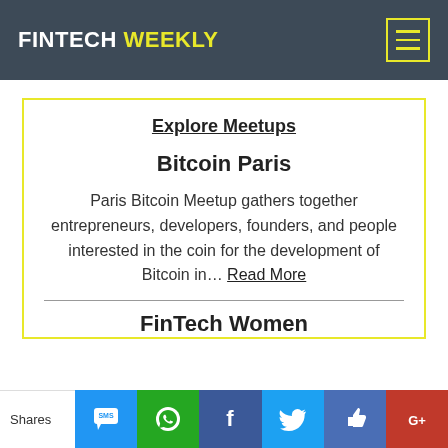FINTECH WEEKLY
Explore Meetups
Bitcoin Paris
Paris Bitcoin Meetup gathers together entrepreneurs, developers, founders, and people interested in the coin for the development of Bitcoin in... Read More
FinTech Women